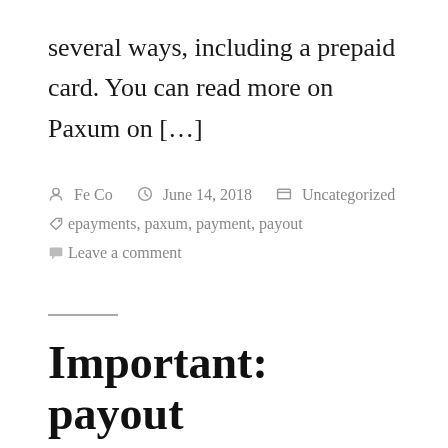several ways, including a prepaid card. You can read more on Paxum on […]
By Fe Co  June 14, 2018  Uncategorized  Tags: epayments, paxum, payment, payout  Leave a comment
Important: payout